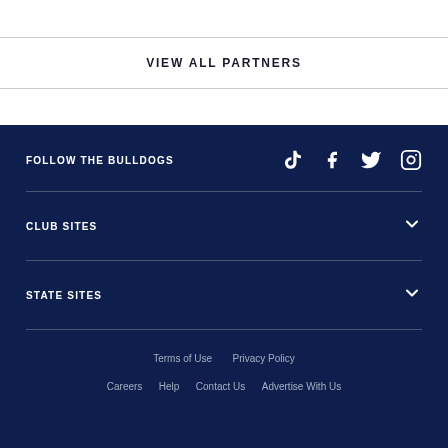VIEW ALL PARTNERS
FOLLOW THE BULLDOGS
CLUB SITES
STATE SITES
Terms of Use  Privacy Policy  Careers  Help  Contact Us  Advertise With Us